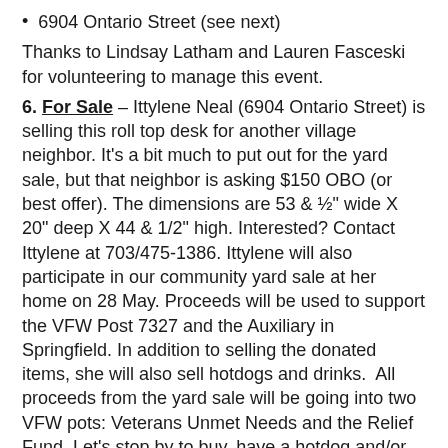6904 Ontario Street (see next)
Thanks to Lindsay Latham and Lauren Fasceski for volunteering to manage this event.
6. For Sale – Ittylene Neal (6904 Ontario Street) is selling this roll top desk for another village neighbor. It's a bit much to put out for the yard sale, but that neighbor is asking $150 OBO (or best offer). The dimensions are 53 & ½" wide X 20" deep X 44 & 1/2" high. Interested? Contact Ittylene at 703/475-1386. Ittylene will also participate in our community yard sale at her home on 28 May. Proceeds will be used to support the VFW Post 7327 and the Auxiliary in Springfield. In addition to selling the donated items, she will also sell hotdogs and drinks.  All proceeds from the yard sale will be going into two VFW pots: Veterans Unmet Needs and the Relief Fund. Let's stop by to buy, have a hotdog and/or to make a donation.